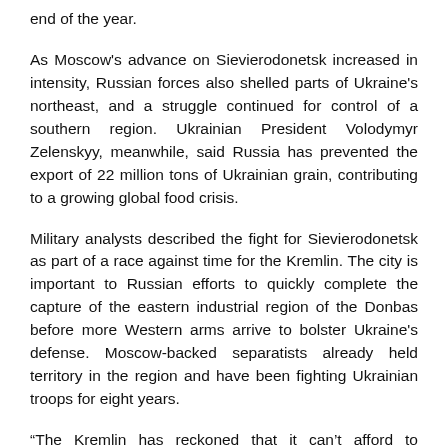end of the year.
As Moscow's advance on Sievierodonetsk increased in intensity, Russian forces also shelled parts of Ukraine's northeast, and a struggle continued for control of a southern region. Ukrainian President Volodymyr Zelenskyy, meanwhile, said Russia has prevented the export of 22 million tons of Ukrainian grain, contributing to a growing global food crisis.
Military analysts described the fight for Sievierodonetsk as part of a race against time for the Kremlin. The city is important to Russian efforts to quickly complete the capture of the eastern industrial region of the Donbas before more Western arms arrive to bolster Ukraine's defense. Moscow-backed separatists already held territory in the region and have been fighting Ukrainian troops for eight years.
“The Kremlin has reckoned that it can’t afford to